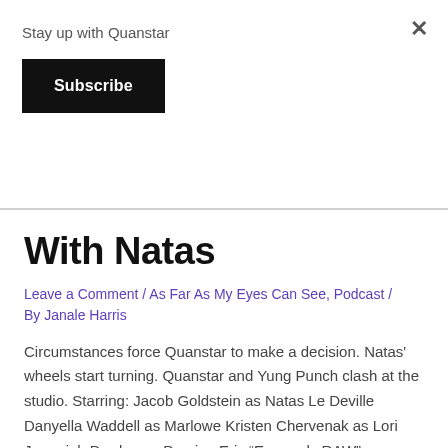Stay up with Quanstar
Subscribe
With Natas
Leave a Comment / As Far As My Eyes Can See, Podcast / By Janale Harris
Circumstances force Quanstar to make a decision. Natas' wheels start turning. Quanstar and Yung Punch clash at the studio. Starring: Jacob Goldstein as Natas Le Deville Danyella Waddell as Marlowe Kristen Chervenak as Lori Jeremiah Durden as Damien Eric “Evaready RAW” Cheatham as himself Kendrick “Coach K” Anderson as himself Brandon B Jackson as Ripper …
Read More »